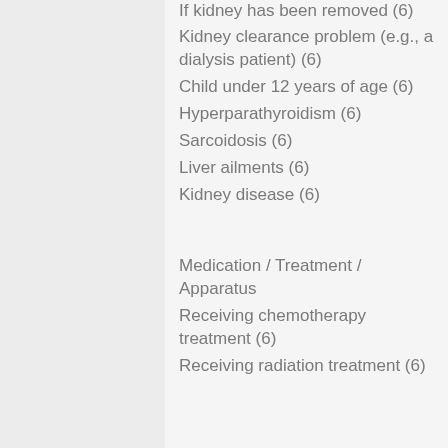If kidney has been removed (6)
Kidney clearance problem (e.g., a dialysis patient) (6)
Child under 12 years of age (6)
Hyperparathyroidism (6)
Sarcoidosis (6)
Liver ailments (6)
Kidney disease (6)
Medication / Treatment / Apparatus
Receiving chemotherapy treatment (6)
Receiving radiation treatment (6)